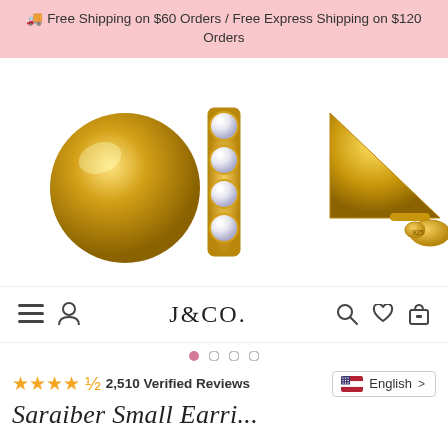🚚 Free Shipping on $60 Orders / Free Express Shipping on $120 Orders
[Figure (photo): Three gold earring styles displayed: a gold ball stud (left), a crystal/diamond bar crawler earring (center), and a gold triangle stud with butterfly back (right) on a white background.]
J&CO. navigation bar with hamburger menu, user icon, search, wishlist, and cart icons
● ○ ○ ○ (carousel dots, first active)
★★★★½ 2,510 Verified Reviews
English >
Saraiber Small Earri...